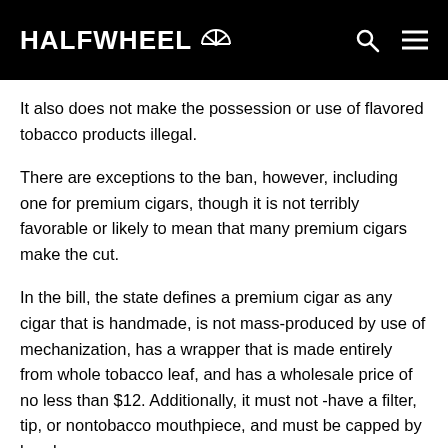HALFWHEEL
It also does not make the possession or use of flavored tobacco products illegal.
There are exceptions to the ban, however, including one for premium cigars, though it is not terribly favorable or likely to mean that many premium cigars make the cut.
In the bill, the state defines a premium cigar as any cigar that is handmade, is not mass-produced by use of mechanization, has a wrapper that is made entirely from whole tobacco leaf, and has a wholesale price of no less than $12. Additionally, it must not -have a filter, tip, or nontobacco mouthpiece, and must be capped by hand.